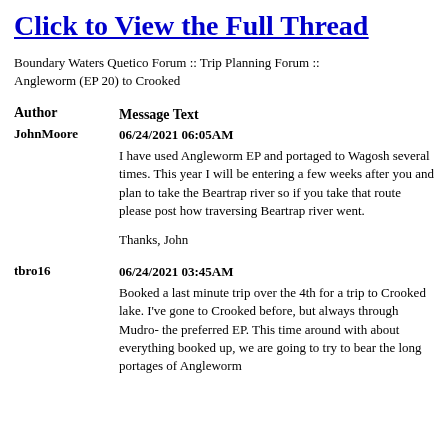Click to View the Full Thread
Boundary Waters Quetico Forum :: Trip Planning Forum :: Angleworm (EP 20) to Crooked
| Author | Message Text |
| --- | --- |
| JohnMoore | 06/24/2021 06:05AM
I have used Angleworm EP and portaged to Wagosh several times. This year I will be entering a few weeks after you and plan to take the Beartrap river so if you take that route please post how traversing Beartrap river went.

Thanks, John |
| tbro16 | 06/24/2021 03:45AM
Booked a last minute trip over the 4th for a trip to Crooked lake. I've gone to Crooked before, but always through Mudro- the preferred EP. This time around with about everything booked up, we are going to try to bear the long portages of Angleworm to get there and ultimately... |